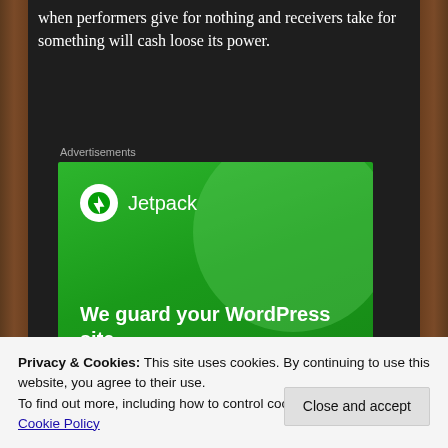when performers give for nothing and receivers take for something will cash loose its power.
Advertisements
[Figure (screenshot): Jetpack advertisement banner with green background showing 'We guard your WordPress site. You run your business.']
Privacy & Cookies: This site uses cookies. By continuing to use this website, you agree to their use.
To find out more, including how to control cookies, see here: Cookie Policy